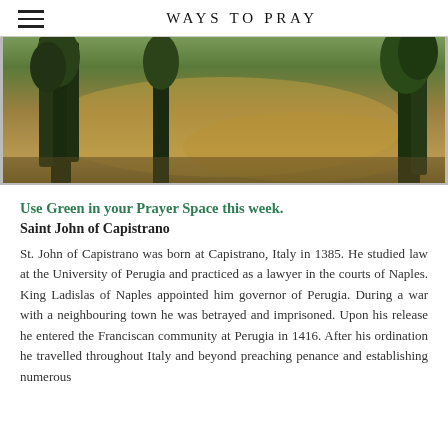WAYS TO PRAY
[Figure (photo): Landscape scene with cypress trees and golden grassy hillside in Italy]
Use Green in your Prayer Space this week.
Saint John of Capistrano
St. John of Capistrano was born at Capistrano, Italy in 1385. He studied law at the University of Perugia and practiced as a lawyer in the courts of Naples. King Ladislas of Naples appointed him governor of Perugia. During a war with a neighbouring town he was betrayed and imprisoned. Upon his release he entered the Franciscan community at Perugia in 1416. After his ordination he travelled throughout Italy and beyond preaching penance and establishing numerous